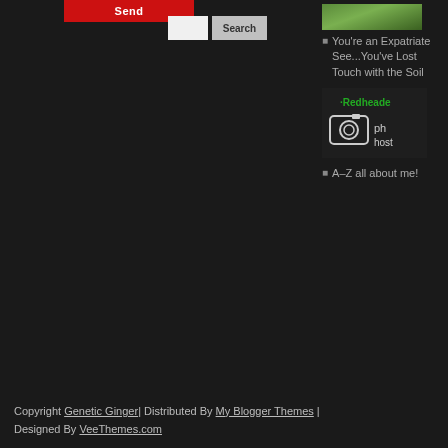[Figure (screenshot): Red Send button on dark background]
[Figure (screenshot): Search input field and Search button]
[Figure (photo): Grass/soil image thumbnail in right sidebar]
You're an Expatriate See...You've Lost Touch with the Soil
[Figure (logo): Redheaded photography hosting logo with camera icon]
A-Z all about me!
Copyright Genetic Ginger | Distributed By My Blogger Themes | Designed By VeeThemes.com